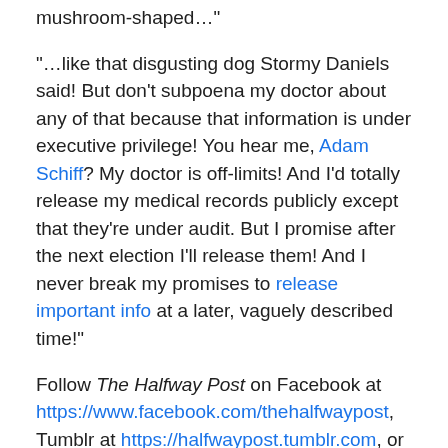mushroom-shaped…”
“…like that disgusting dog Stormy Daniels said! But don’t subpoena my doctor about any of that because that information is under executive privilege! You hear me, Adam Schiff? My doctor is off-limits! And I’d totally release my medical records publicly except that they’re under audit. But I promise after the next election I’ll release them! And I never break my promises to release important info at a later, vaguely described time!”
Follow The Halfway Post on Facebook at https://www.facebook.com/thehalfwaypost, Tumblr at https://halfwaypost.tumblr.com, or Instagram @thehalfwaypost for more liberal, political humor and satire!
(Picture courtesy of Gage Skidmore.)